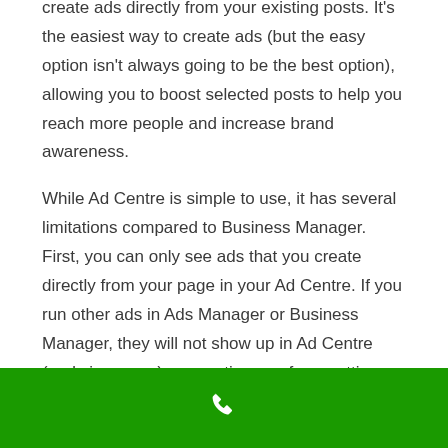create ads directly from your existing posts. It's the easiest way to create ads (but the easy option isn't always going to be the best option), allowing you to boost selected posts to help you reach more people and increase brand awareness.
While Ad Centre is simple to use, it has several limitations compared to Business Manager. First, you can only see ads that you create directly from your page in your Ad Centre. If you run other ads in Ads Manager or Business Manager, they will not show up in Ad Centre (and vice versa), preventing you from getting a full view of your advertising efforts.
Second, Ad Centre provides less detailed insights into your ad performance, compared to the power of Business Manager. While you can see basic metrics, like views and
[Figure (other): Green footer bar with a white phone/call icon centered on it]